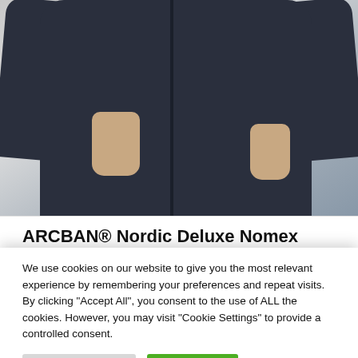[Figure (photo): Product photo of a person wearing a dark navy ARCBAN Nordic Deluxe Nomex coverall, showing torso and hands, against a light grey background.]
ARCBAN® Nordic Deluxe Nomex
We use cookies on our website to give you the most relevant experience by remembering your preferences and repeat visits. By clicking "Accept All", you consent to the use of ALL the cookies. However, you may visit "Cookie Settings" to provide a controlled consent.
Cookie Settings | Accept All